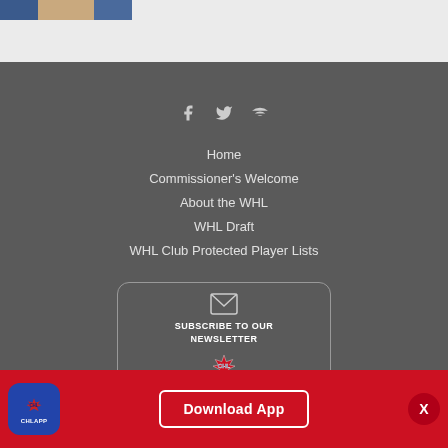[Figure (photo): Partial photo strip showing hockey-related images at top of page]
Home
Commissioner's Welcome
About the WHL
WHL Draft
WHL Club Protected Player Lists
[Figure (infographic): Subscribe to Our Newsletter box with envelope icon and CHL logo]
[Figure (logo): CHL App download bar with app icon, Download App button, and X close button]